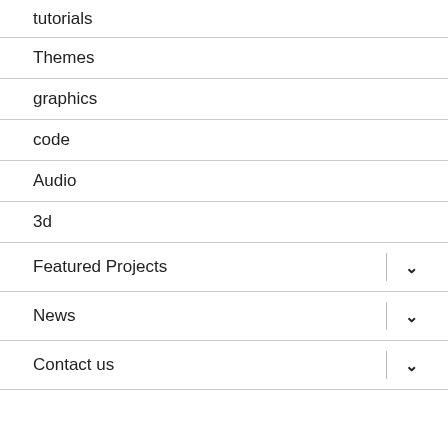tutorials
Themes
graphics
code
Audio
3d
Featured Projects
News
Contact us